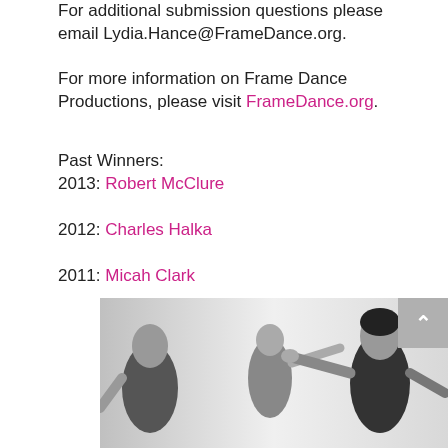For additional submission questions please email Lydia.Hance@FrameDance.org.
For more information on Frame Dance Productions, please visit FrameDance.org.
Past Winners:
2013: Robert McClure

2012: Charles Halka

2011: Micah Clark
[Figure (photo): Black and white photograph of three dancers extending their arms in a dance pose against a white background.]